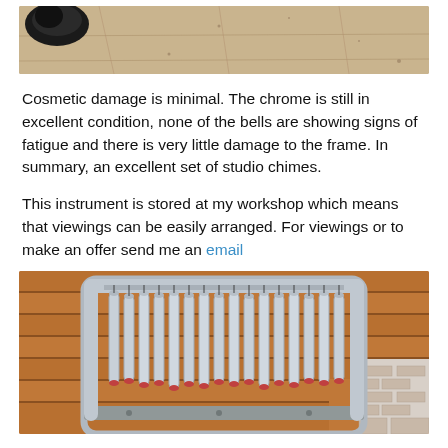[Figure (photo): Top portion of a photo showing a dark object on a wooden floor background]
Cosmetic damage is minimal. The chrome is still in excellent condition, none of the bells are showing signs of fatigue and there is very little damage to the frame. In summary, an excellent set of studio chimes.
This instrument is stored at my workshop which means that viewings can be easily arranged. For viewings or to make an offer send me an email
[Figure (photo): Photo of a studio chimes instrument with chrome tubes hanging on a metal frame, set against a wooden shed wall background]